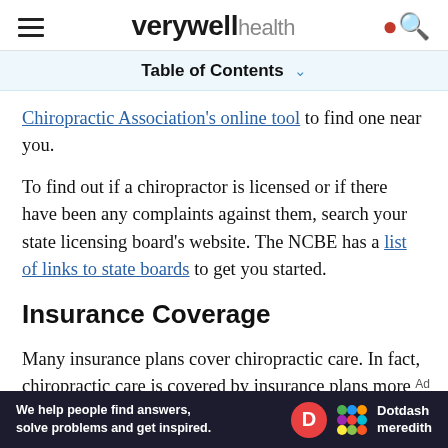verywell health
Table of Contents
Chiropractic Association's online tool to find one near you.
To find out if a chiropractor is licensed or if there have been any complaints against them, search your state licensing board's website. The NCBE has a list of links to state boards to get you started.
Insurance Coverage
Many insurance plans cover chiropractic care. In fact, chiropractic care is covered by insurance plans more often than alternative treatments like
[Figure (other): Advertisement banner: Dotdash Meredith ad with text 'We help people find answers, solve problems and get inspired.']